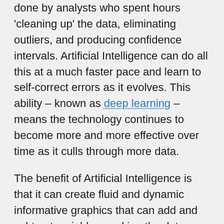done by analysts who spent hours 'cleaning up' the data, eliminating outliers, and producing confidence intervals. Artificial Intelligence can do all this at a much faster pace and learn to self-correct errors as it evolves. This ability – known as deep learning – means the technology continues to become more and more effective over time as it culls through more data.
The benefit of Artificial Intelligence is that it can create fluid and dynamic informative graphics that can add and subtract variables, making the data relevant to particular audiences. For example, imagine your firm is running a board meeting and executives are presented with a bar graph that tracks internal breaches over the past year. At first glance the information may not reveal any trends. However, one executive then requests the same information over just the past six months and that it be presented as a DOT graph. At this point an obvious